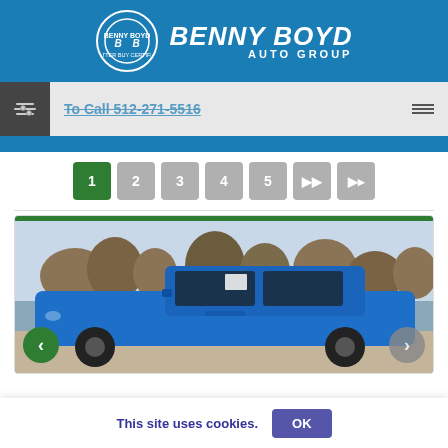[Figure (logo): Benny Boyd Auto Group logo with circular BB emblem and text]
To Call 512-271-5516
1
2
3
4
5
[Figure (photo): Blue RAM pickup truck parked outdoors with trees in background]
This site uses cookies.
OK